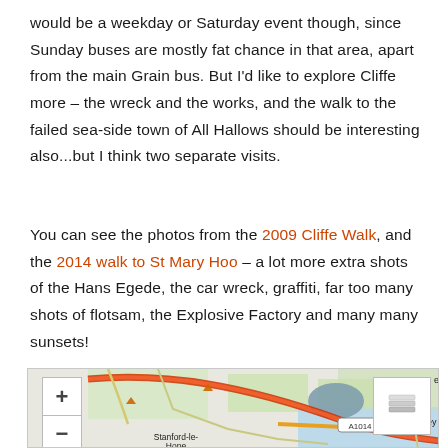would be a weekday or Saturday event though, since Sunday buses are mostly fat chance in that area, apart from the main Grain bus. But I'd like to explore Cliffe more – the wreck and the works, and the walk to the failed sea-side town of All Hallows should be interesting also...but I think two separate visits.
You can see the photos from the 2009 Cliffe Walk, and the 2014 walk to St Mary Hoo – a lot more extra shots of the Hans Egede, the car wreck, graffiti, far too many shots of flotsam, the Explosive Factory and many many sunsets!
[Figure (map): Interactive map showing area around Stanford-le-Hope, Canvey Island, and surrounding region with roads including A1014, zoom controls (+/-) and layer switcher button visible]